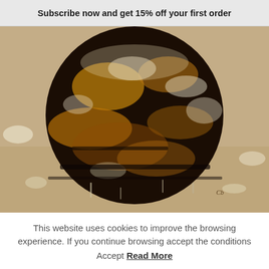Subscribe now and get 15% off your first order
[Figure (photo): Abstract artwork showing a large dark circular form with textured brown, gold, black and white paint — resembling a planet or moon surface, with brushstrokes and drips, on a light beige background. Artist signature visible at lower right.]
This website uses cookies to improve the browsing experience. If you continue browsing accept the conditions
Accept Read More